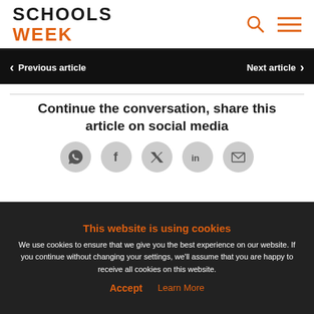SCHOOLS WEEK
Previous article   Next article
Continue the conversation, share this article on social media
[Figure (infographic): Social media share icons: WhatsApp, Facebook, Twitter, LinkedIn, Email]
This website is using cookies
We use cookies to ensure that we give you the best experience on our website. If you continue without changing your settings, we'll assume that you are happy to receive all cookies on this website.
Accept   Learn More
Join the conversation below